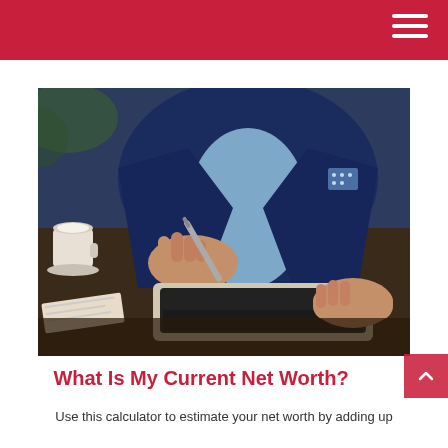[Figure (photo): A businessperson in a navy suit writing on a tablet with a stylus, with a coffee cup visible in the background on a dark table.]
What Is My Current Net Worth?
Use this calculator to estimate your net worth by adding up